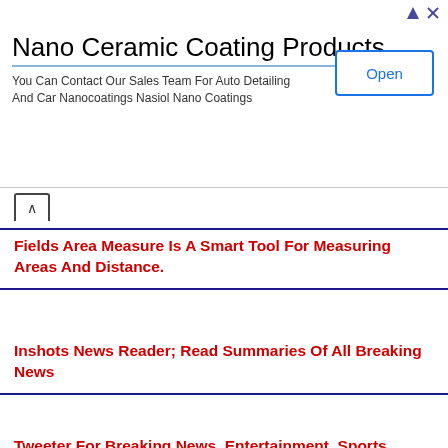[Figure (infographic): Advertisement banner for Nano Ceramic Coating Products with Open button]
Nano Ceramic Coating Products
You Can Contact Our Sales Team For Auto Detailing And Car Nanocoatings Nasiol Nano Coatings
Fields Area Measure Is A Smart Tool For Measuring Areas And Distance.
Inshots News Reader; Read Summaries Of All Breaking News
Tweeter For Breaking News, Entertainment, Sports, Politics And Everything
Jobs gujarat.in - December 07, 2021
Share
Related Posts
No comments:
Post a Comment